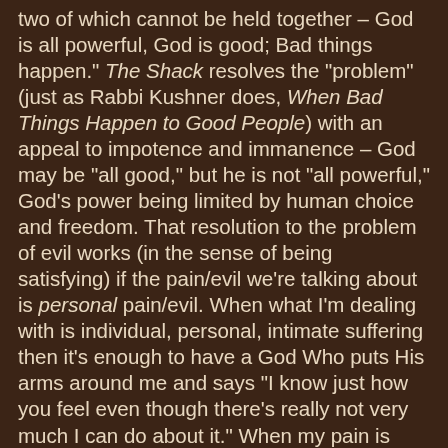two of which cannot be held together – God is all powerful, God is good; Bad things happen. The Shack resolves the "problem" (just as Rabbi Kushner does, When Bad Things Happen to Good People) with an appeal to impotence and immanence – God may be "all good," but he is not "all powerful," God's power being limited by human choice and freedom. That resolution to the problem of evil works (in the sense of being satisfying) if the pain/evil we're talking about is personal pain/evil. When what I'm dealing with is individual, personal, intimate suffering then it's enough to have a God Who puts His arms around me and says "I know just how you feel even though there's really not very much I can do about it." When my pain is personal, immanence trumps transcendence. But when the pain is cosmic – when the bombs are falling, or the 767's are flying into the World Trade Center – I want more than just empathy; I want sovereignty. I observed that churches were full on Sunday September 16, 2001, and the worshippers weren't so much looking for a Caring God as a Sovereign God. Indeed, someone even said to me on that Sunday: "I needed to come here today to be reminded of Who's in charge." To be sure, it didn't last. Never does. Life settles in and settles down and the tuff stuff, while not painless, is at least